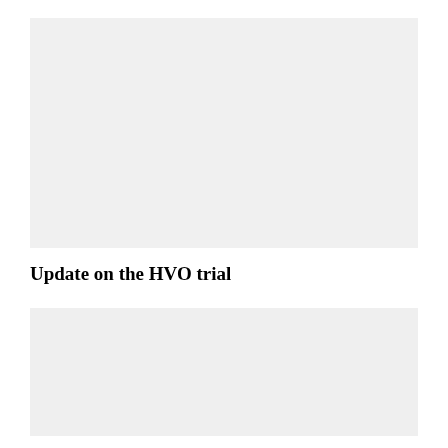[Figure (other): Gray placeholder image box at top of page]
Update on the HVO trial
[Figure (other): Gray placeholder image box at bottom of page]